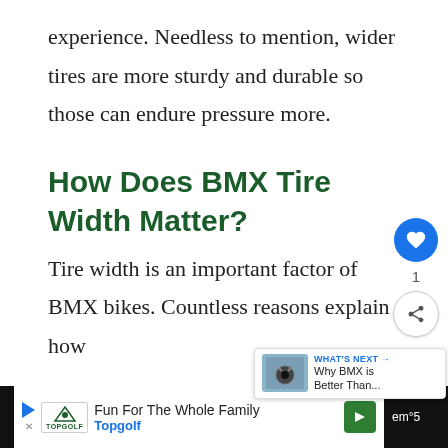experience. Needless to mention, wider tires are more sturdy and durable so those can endure pressure more.
How Does BMX Tire Width Matter?
Tire width is an important factor of BMX bikes. Countless reasons explain how
[Figure (screenshot): UI widget with heart/like button showing count of 1 and a share button]
[Figure (screenshot): What's Next overlay card: thumbnail of BMX bike, label 'WHAT'S NEXT →', text 'Why BMX is Better Than...']
[Figure (screenshot): Bottom ad bar: Topgolf advertisement reading 'Fun For The Whole Family' and 'Topgolf' with play button, X close, and navigation arrow]